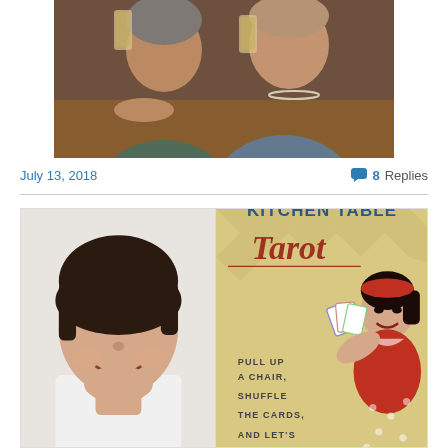[Figure (photo): Two older women sitting together, each holding a glass (beer/drink), smiling at the camera. One wears a patterned top, the other a blue and white floral top with pearl necklace.]
July 13, 2018
8 Replies
[Figure (photo): Left half: a woman with short dark hair smiling. Right half: book cover for 'Kitchen Table Tarot' with text 'PULL UP A CHAIR, SHUFFLE THE CARDS, AND LET'S' and an illustration of a vintage pin-up style woman holding tarot cards.]